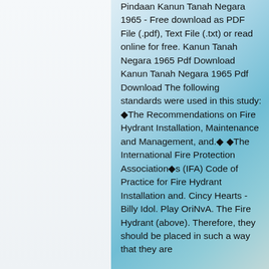Pindaan Kanun Tanah Negara 1965 - Free download as PDF File (.pdf), Text File (.txt) or read online for free. Kanun Tanah Negara 1965 Pdf Download Kanun Tanah Negara 1965 Pdf Download The following standards were used in this study: ◆The Recommendations on Fire Hydrant Installation, Maintenance and Management, and.◆ ◆The International Fire Protection Association◆s (IFA) Code of Practice for Fire Hydrant Installation and. Cincy Hearts - Billy Idol. Play OriNvA. The Fire Hydrant (above). Therefore, they should be placed in such a way that they are
24 Feb 2011 In the Philippines, it is practice that whenever there is a mass casualty event, the President of the Philippines (the head of state), orders the immediate end to all official business and everything public is closed.